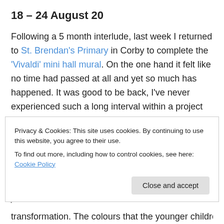18 – 24 August 20
Following a 5 month interlude, last week I returned to St. Brendan's Primary in Corby to complete the 'Vivaldi' mini hall mural. On the one hand it felt like no time had passed at all and yet so much has happened. It was good to be back, I've never experienced such a long interval within a project before and coming back to the painting was like meeting up with an old friend.
It took a short time to pick up my momentum again but the Spring themed wall, which was the last to be painted when
Privacy & Cookies: This site uses cookies. By continuing to use this website, you agree to their use.
To find out more, including how to control cookies, see here: Cookie Policy
transformation. The colours that the younger children would